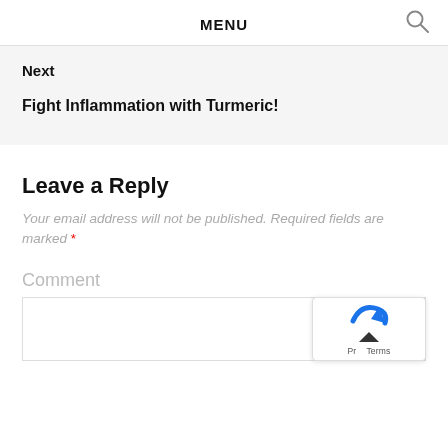MENU
Next
Fight Inflammation with Turmeric!
Leave a Reply
Your email address will not be published. Required fields are marked *
Comment